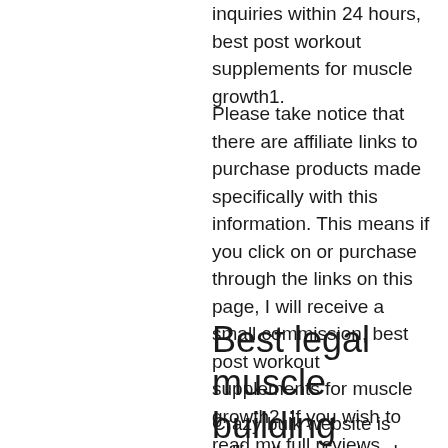inquiries within 24 hours, best post workout supplements for muscle growth1.
Please take notice that there are affiliate links to purchase products made specifically with this information. This means if you click on or purchase through the links on this page, I will receive a small commission, best post workout supplements for muscle growth2. If you wish to read my full reviews.
Best legal muscle building supplements
Crazy bulk website is selling the natural and legal muscle building supplements that are the best alternative to the illegal steroids in the market. The supplements will help your body in building muscle and fighting against ageing. These supplements are of the best quality,